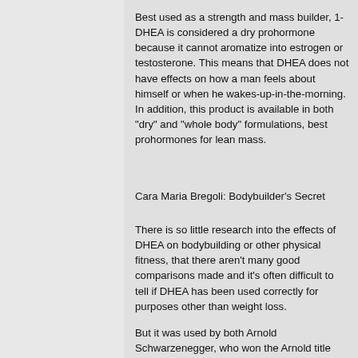Best used as a strength and mass builder, 1-DHEA is considered a dry prohormone because it cannot aromatize into estrogen or testosterone. This means that DHEA does not have effects on how a man feels about himself or when he wakes-up-in-the-morning. In addition, this product is available in both "dry" and "whole body" formulations, best prohormones for lean mass.
Cara Maria Bregoli: Bodybuilder's Secret
There is so little research into the effects of DHEA on bodybuilding or other physical fitness, that there aren't many good comparisons made and it's often difficult to tell if DHEA has been used correctly for purposes other than weight loss.
But it was used by both Arnold Schwarzenegger, who won the Arnold title the entire era, and they are not this of a...